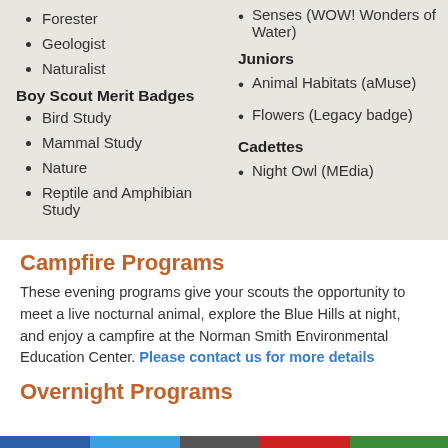Forester
Geologist
Naturalist
Boy Scout Merit Badges
Bird Study
Mammal Study
Nature
Reptile and Amphibian Study
Senses (WOW! Wonders of Water)
Juniors
Animal Habitats (aMuse)
Flowers (Legacy badge)
Cadettes
Night Owl (MEdia)
Campfire Programs
These evening programs give your scouts the opportunity to meet a live nocturnal animal, explore the Blue Hills at night, and enjoy a campfire at the Norman Smith Environmental Education Center. Please contact us for more details
Overnight Programs